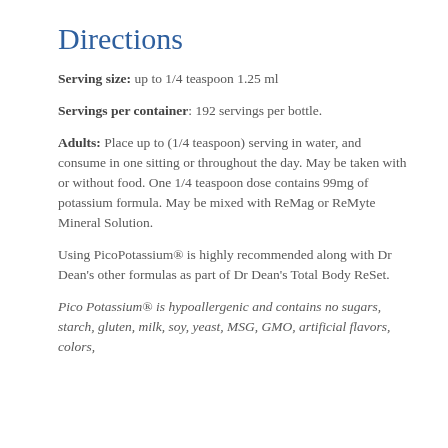Directions
Serving size:  up to 1/4 teaspoon 1.25 ml
Servings per container:  192 servings per bottle.
Adults:  Place up to (1/4 teaspoon) serving in water, and consume in one sitting or throughout the day. May be taken with or without food. One 1/4 teaspoon dose contains 99mg of potassium formula.  May be mixed with ReMag or ReMyte Mineral Solution.
Using PicoPotassium® is highly recommended along with Dr Dean's other formulas as part of Dr Dean's Total Body ReSet.
Pico Potassium® is hypoallergenic and contains no sugars, starch, gluten, milk, soy, yeast, MSG, GMO,  artificial flavors, colors,